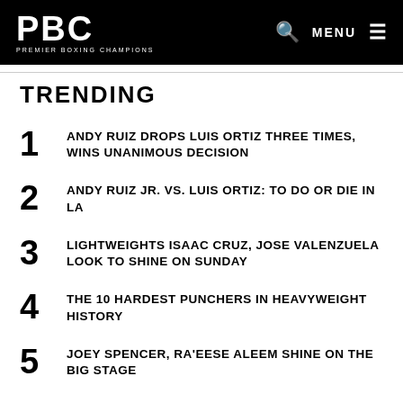PBC PREMIER BOXING CHAMPIONS
TRENDING
1 ANDY RUIZ DROPS LUIS ORTIZ THREE TIMES, WINS UNANIMOUS DECISION
2 ANDY RUIZ JR. VS. LUIS ORTIZ: TO DO OR DIE IN LA
3 LIGHTWEIGHTS ISAAC CRUZ, JOSE VALENZUELA LOOK TO SHINE ON SUNDAY
4 THE 10 HARDEST PUNCHERS IN HEAVYWEIGHT HISTORY
5 JOEY SPENCER, RA'EESE ALEEM SHINE ON THE BIG STAGE